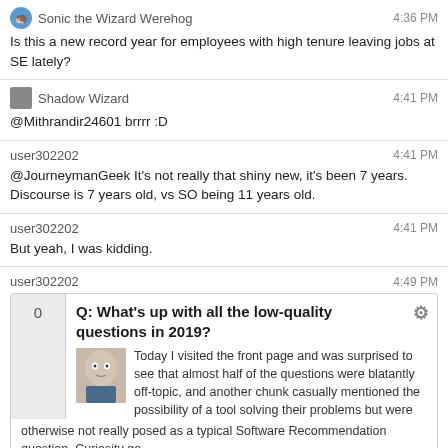Sonic the Wizard Werehog | 4:36 PM
Is this a new record year for employees with high tenure leaving jobs at SE lately?
Shadow Wizard | 4:41 PM
@Mithrandir24601 brrrr :D
user302202 | 4:41 PM
@JourneymanGeek It's not really that shiny new, it's been 7 years. Discourse is 7 years old, vs SO being 11 years old.
user302202 | 4:41 PM
But yeah, I was kidding.
user302202 | 4:49 PM
[Figure (screenshot): Embedded question card: Q: What's up with all the low-quality questions in 2019? Vote: 0. Body snippet about visiting front page and off-topic questions. Tags: discussion, question-quality.]
user302202 | 4:50 PM
That's an impressive bump... I expected AQW redirection to softwarerecs to contribute there, but the bump predates it.
rene | 4:56 PM